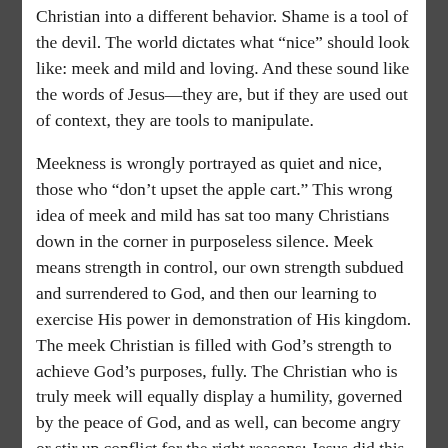Christian into a different behavior. Shame is a tool of the devil. The world dictates what “nice” should look like: meek and mild and loving. And these sound like the words of Jesus—they are, but if they are used out of context, they are tools to manipulate.
Meekness is wrongly portrayed as quiet and nice, those who “don’t upset the apple cart.” This wrong idea of meek and mild has sat too many Christians down in the corner in purposeless silence. Meek means strength in control, our own strength subdued and surrendered to God, and then our learning to exercise His power in demonstration of His kingdom. The meek Christian is filled with God’s strength to achieve God’s purposes, fully. The Christian who is truly meek will equally display a humility, governed by the peace of God, and as well, can become angry or stir up conflict for the right reasons; Jesus did this. There are times when the righteous anger of God will be displayed, to deny this is